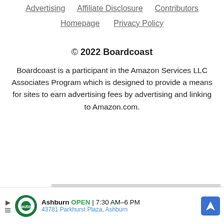Advertising   Affiliate Disclosure   Contributors
Homepage   Privacy Policy
© 2022 Boardcoast
Boardcoast is a participant in the Amazon Services LLC Associates Program which is designed to provide a means for sites to earn advertising fees by advertising and linking to Amazon.com.
[Figure (screenshot): Gray video player box with text 'No compatible source was found for this media.' and a close button]
[Figure (screenshot): Advertisement bar: Ashburn OPEN 7:30AM-6PM, 43781 Parkhurst Plaza, Ashburn with a blue navigation arrow icon]